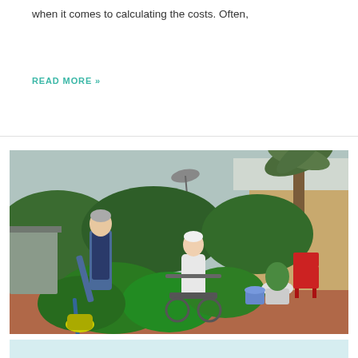when it comes to calculating the costs. Often,
READ MORE »
[Figure (photo): An elderly man in a blue vest and light blue shirt tends to a garden bed with large leafy green plants, leaning over with a gardening tool. Beside him, an elderly woman with short white hair sits in a wheelchair wearing a white sweater, looking at the plants. In the background is a house with a satellite dish, a tall palm tree, and a red chair on a paved patio area.]